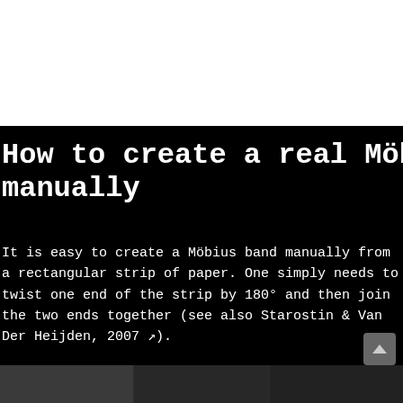How to create a real Möbius band manually
It is easy to create a Möbius band manually from a rectangular strip of paper. One simply needs to twist one end of the strip by 180° and then join the two ends together (see also Starostin & Van Der Heijden, 2007 ↗).
[Figure (photo): Bottom strip showing photographs at the bottom of the page]
EDIT CHART